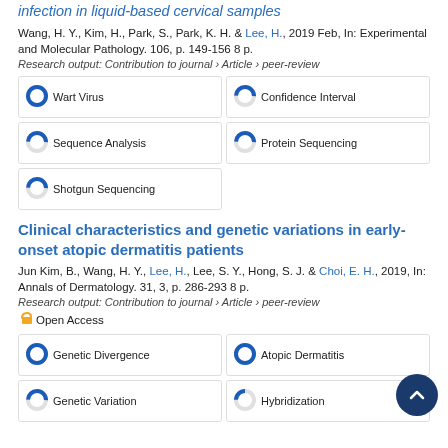infection in liquid-based cervical samples
Wang, H. Y., Kim, H., Park, S., Park, K. H. & Lee, H., 2019 Feb, In: Experimental and Molecular Pathology. 106, p. 149-156 8 p.
Research output: Contribution to journal › Article › peer-review
100% Wart Virus
50% Confidence Interval
50% Sequence Analysis
50% Protein Sequencing
50% Shotgun Sequencing
Clinical characteristics and genetic variations in early-onset atopic dermatitis patients
Jun Kim, B., Wang, H. Y., Lee, H., Lee, S. Y., Hong, S. J. & Choi, E. H., 2019, In: Annals of Dermatology. 31, 3, p. 286-293 8 p.
Research output: Contribution to journal › Article › peer-review
Open Access
100% Genetic Divergence
100% Atopic Dermatitis
50% Genetic Variation
25% Hybridization